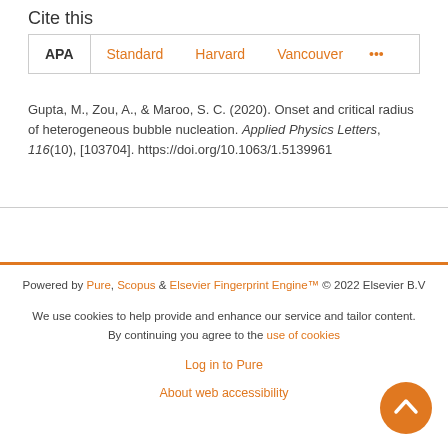Cite this
APA  Standard  Harvard  Vancouver  ...
Gupta, M., Zou, A., & Maroo, S. C. (2020). Onset and critical radius of heterogeneous bubble nucleation. Applied Physics Letters, 116(10), [103704]. https://doi.org/10.1063/1.5139961
Powered by Pure, Scopus & Elsevier Fingerprint Engine™ © 2022 Elsevier B.V
We use cookies to help provide and enhance our service and tailor content. By continuing you agree to the use of cookies
Log in to Pure
About web accessibility